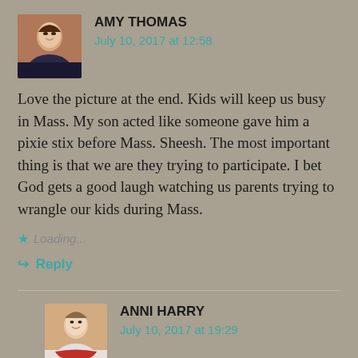[Figure (photo): Profile photo of Amy Thomas, a woman with dark hair]
AMY THOMAS
July 10, 2017 at 12:58
Love the picture at the end. Kids will keep us busy in Mass. My son acted like someone gave him a pixie stix before Mass. Sheesh. The most important thing is that we are they trying to participate. I bet God gets a good laugh watching us parents trying to wrangle our kids during Mass.
Loading...
Reply
[Figure (photo): Profile photo of Anni Harry, a woman with short hair and a red scarf]
ANNI HARRY
July 10, 2017 at 19:29
Haha, right?! I actually wrote shortly around